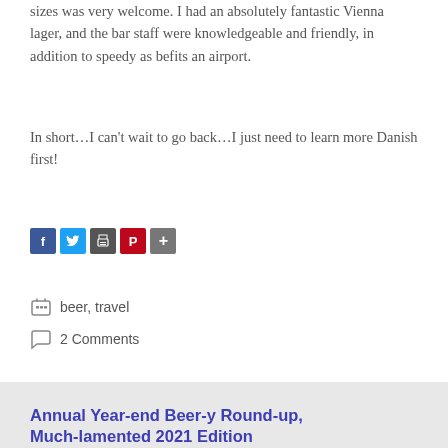sizes was very welcome. I had an absolutely fantastic Vienna lager, and the bar staff were knowledgeable and friendly, in addition to speedy as befits an airport.
In short…I can't wait to go back…I just need to learn more Danish first!
[Figure (infographic): Row of social sharing icons: Facebook (blue), Twitter (light blue), Print/Share (gray), Pinterest (red), More (gray with plus sign)]
beer, travel
2 Comments
Annual Year-end Beer-y Round-up, Much-lamented 2021 Edition